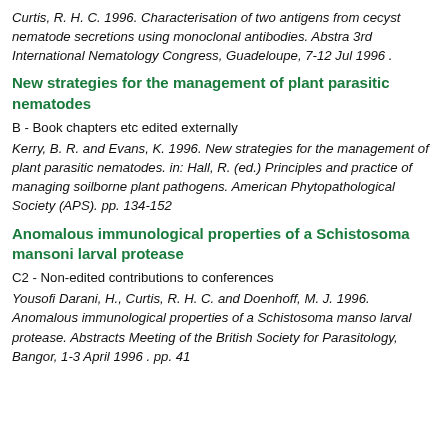Curtis, R. H. C. 1996. Characterisation of two antigens from cyst nematode secretions using monoclonal antibodies. Abstracts 3rd International Nematology Congress, Guadeloupe, 7-12 July 1996 .
New strategies for the management of plant parasitic nematodes
B - Book chapters etc edited externally
Kerry, B. R. and Evans, K. 1996. New strategies for the management of plant parasitic nematodes. in: Hall, R. (ed.) Principles and practice of managing soilborne plant pathogens. American Phytopathological Society (APS). pp. 134-152
Anomalous immunological properties of a Schistosoma mansoni larval protease
C2 - Non-edited contributions to conferences
Yousofi Darani, H., Curtis, R. H. C. and Doenhoff, M. J. 1996. Anomalous immunological properties of a Schistosoma mansoni larval protease. Abstracts Meeting of the British Society for Parasitology, Bangor, 1-3 April 1996 . pp. 41